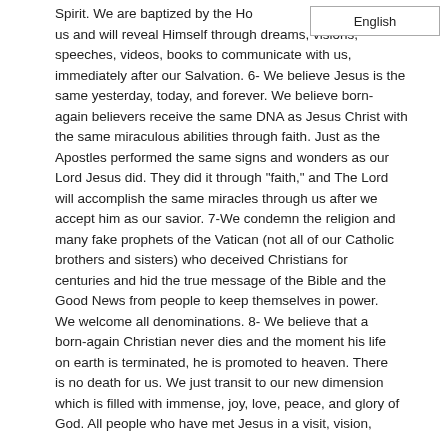Spirit. We are baptized by the Holy Spirit who lives in us and will reveal Himself through dreams, visions, speeches, videos, books to communicate with us, immediately after our Salvation. 6- We believe Jesus is the same yesterday, today, and forever. We believe born-again believers receive the same DNA as Jesus Christ with the same miraculous abilities through faith. Just as the Apostles performed the same signs and wonders as our Lord Jesus did. They did it through "faith," and The Lord will accomplish the same miracles through us after we accept him as our savior. 7-We condemn the religion and many fake prophets of the Vatican (not all of our Catholic brothers and sisters) who deceived Christians for centuries and hid the true message of the Bible and the Good News from people to keep themselves in power. We welcome all denominations. 8- We believe that a born-again Christian never dies and the moment his life on earth is terminated, he is promoted to heaven. There is no death for us. We just transit to our new dimension which is filled with immense, joy, love, peace, and glory of God. All people who have met Jesus in a visit, vision,